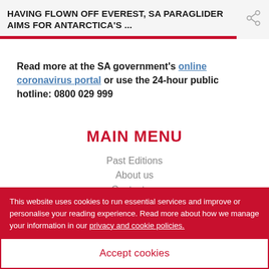HAVING FLOWN OFF EVEREST, SA PARAGLIDER AIMS FOR ANTARCTICA'S ...
Read more at the SA government's online coronavirus portal or use the 24-hour public hotline: 0800 029 999
MAIN MENU
Past Editions
About us
Contact us
Advertise
This website uses cookies to run essential services and improve or personalise your reading experience. Read more about how we manage your information in our privacy and cookie policies.